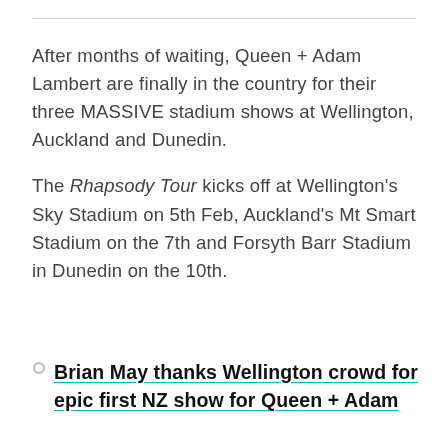After months of waiting, Queen + Adam Lambert are finally in the country for their three MASSIVE stadium shows at Wellington, Auckland and Dunedin.
The Rhapsody Tour kicks off at Wellington's Sky Stadium on 5th Feb, Auckland's Mt Smart Stadium on the 7th and Forsyth Barr Stadium in Dunedin on the 10th.
Brian May thanks Wellington crowd for epic first NZ show for Queen + Adam